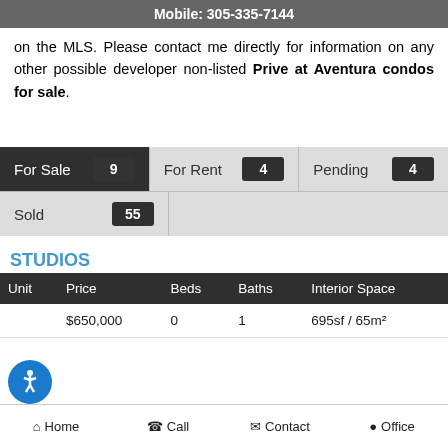Mobile: 305-335-7144
on the MLS. Please contact me directly for information on any other possible developer non-listed Prive at Aventura condos for sale.
| For Sale | 9 | For Rent | 4 | Pending | 4 |
| Sold | 55 |
STUDIOS
| Unit | Price | Beds | Baths | Interior Space |
| --- | --- | --- | --- | --- |
|  | $650,000 | 0 | 1 | 695sf / 65m² |
Home  Call  Contact  Office